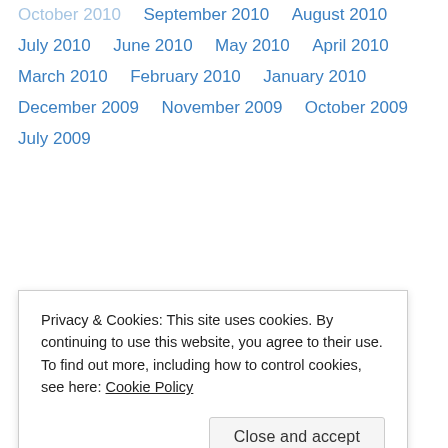October 2010
September 2010
August 2010
July 2010
June 2010
May 2010
April 2010
March 2010
February 2010
January 2010
December 2009
November 2009
October 2009
July 2009
Privacy & Cookies: This site uses cookies. By continuing to use this website, you agree to their use.
To find out more, including how to control cookies, see here: Cookie Policy
October 2008